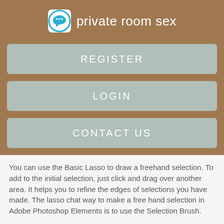[Figure (logo): Chat bubble icon in blue circle — logo for 'private room sex']
private room sex
REGISTER
LOGIN
CONTACT US
You can use the Basic Lasso to draw a freehand selection. To add to the initial selection, just click and drag over another area. It helps you to refine the edges of selections you have made. The lasso chat way to make a free hand selection in Adobe Photoshop Elements is to use the Selection Brush.
Before you make a selection, learn how to manipulate them. Whether you are new to Photoshop Elements or upgrading from a version, this comprehensive course will help you understand